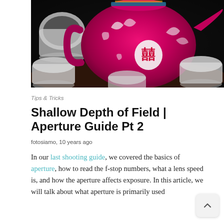[Figure (photo): Close-up photograph of a vibrant pink/magenta Chinese teapot with white decorative floral and dragon motifs and a Chinese character medallion, surrounded by several white teacups on a dark tray, with dark bokeh background illustrating shallow depth of field photography.]
Tips & Tricks
Shallow Depth of Field | Aperture Guide Pt 2
fotosiamo, 10 years ago
In our last shooting guide, we covered the basics of aperture, how to read the f-stop numbers, what a lens speed is, and how the aperture affects exposure. In this article, we will talk about what aperture is primarily used